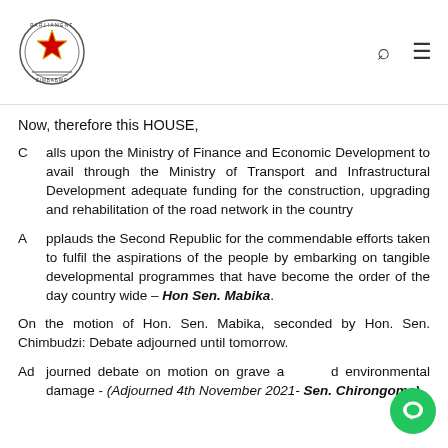Parliament of Zimbabwe
Now, therefore this HOUSE,
Calls upon the Ministry of Finance and Economic Development to avail through the Ministry of Transport and Infrastructural Development adequate funding for the construction, upgrading and rehabilitation of the road network in the country
Applauds the Second Republic for the commendable efforts taken to fulfil the aspirations of the people by embarking on tangible developmental programmes that have become the order of the day country wide – Hon Sen. Mabika.
On the motion of Hon. Sen. Mabika, seconded by Hon. Sen. Chimbudzi: Debate adjourned until tomorrow.
Adjourned debate on motion on grave and environmental damage - (Adjourned 4th November 2021- Sen. Chirongoma)